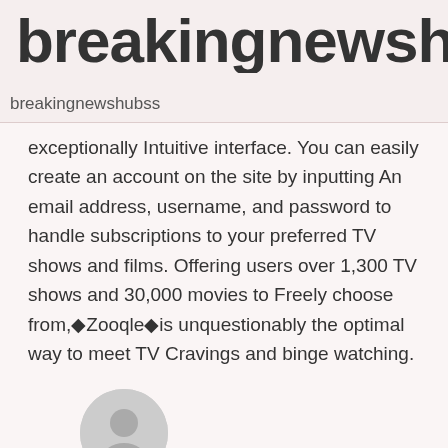breakingnewshu
breakingnewshubss
exceptionally Intuitive interface. You can easily create an account on the site by inputting An email address, username, and password to handle subscriptions to your preferred TV shows and films. Offering users over 1,300 TV shows and 30,000 movies to Freely choose from,◆Zooqle◆is unquestionably the optimal way to meet TV Cravings and binge watching.
[Figure (illustration): Gray circular avatar/profile icon with a person silhouette]
admin - 642 posts
Home